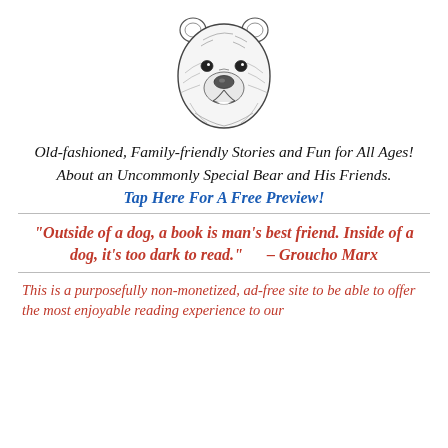[Figure (illustration): Pen-and-ink style drawing of a bear's head (grizzly/brown bear) facing forward, centered at top of page]
Old-fashioned, Family-friendly Stories and Fun for All Ages!
About an Uncommonly Special Bear and His Friends.
Tap Here For A Free Preview!
“Outside of a dog, a book is man’s best friend. Inside of a dog, it’s too dark to read.” – Groucho Marx
This is a purposefully non-monetized, ad-free site to be able to offer the most enjoyable reading experience to our...